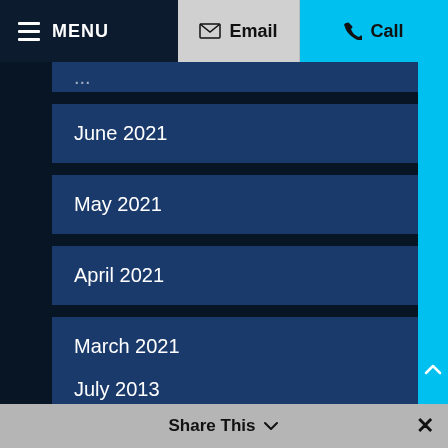MENU | Email | Call
June 2021
May 2021
April 2021
March 2021
August 2013
July 2013
Share This